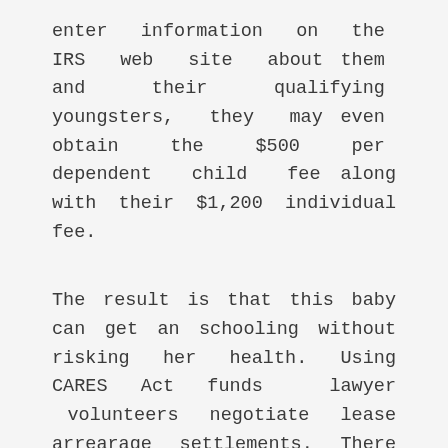enter information on the IRS web site about them and their qualifying youngsters, they may even obtain the $500 per dependent child fee along with their $1,200 individual fee.
The result is that this baby can get an schooling without risking her health. Using CARES Act funds lawyer volunteers negotiate lease arrearage settlements. There are currently just below 2,000 cases awaiting resolution through ESP. The number of circumstances being dealt with is presently limited by the number of volunteers out there to assist. Due to COVID-19, our offices are currently closed to the public. To apply for legal help, check out the net